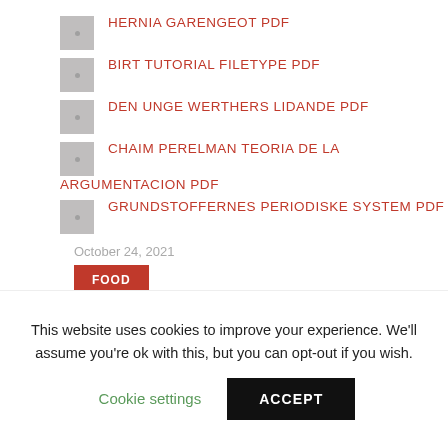HERNIA GARENGEOT PDF
BIRT TUTORIAL FILETYPE PDF
DEN UNGE WERTHERS LIDANDE PDF
CHAIM PERELMAN TEORIA DE LA ARGUMENTACION PDF
GRUNDSTOFFERNES PERIODISKE SYSTEM PDF
October 24, 2021
FOOD
This website uses cookies to improve your experience. We'll assume you're ok with this, but you can opt-out if you wish.
Cookie settings
ACCEPT